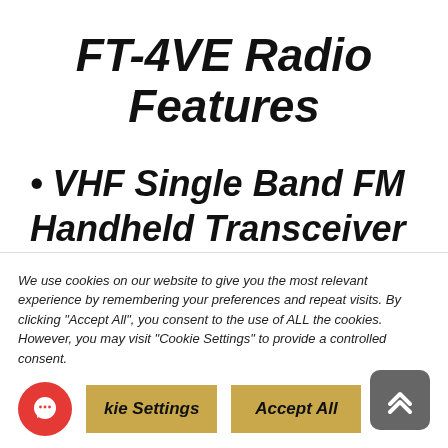FT-4VE Radio Features
VHF Single Band FM Handheld Transceiver
Ultimate Compact Design.
We use cookies on our website to give you the most relevant experience by remembering your preferences and repeat visits. By clicking “Accept All”, you consent to the use of ALL the cookies. However, you may visit “Cookie Settings” to provide a controlled consent.
Cookie Settings | Accept All